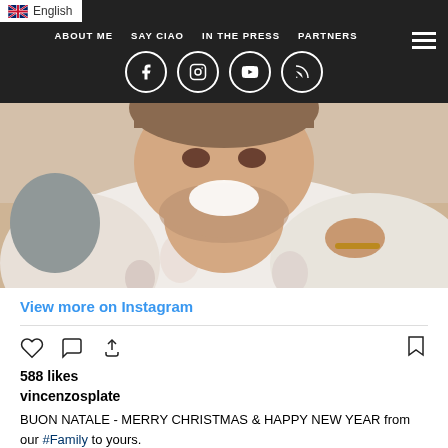English
ABOUT ME  SAY CIAO  IN THE PRESS  PARTNERS
[Figure (photo): Close-up photo of a smiling man in a floral shirt, someone's hand on his shoulder]
View more on Instagram
588 likes
vincenzosplate
BUON NATALE - MERRY CHRISTMAS & HAPPY NEW YEAR from our #Family to yours.
What an spectacular year #2019 has been! We have had some of the best experiences to-date with Vincenzo's Plate and grown as individuals and as a business. We are so, SO grateful for every single #experience we have had from new, incredibly